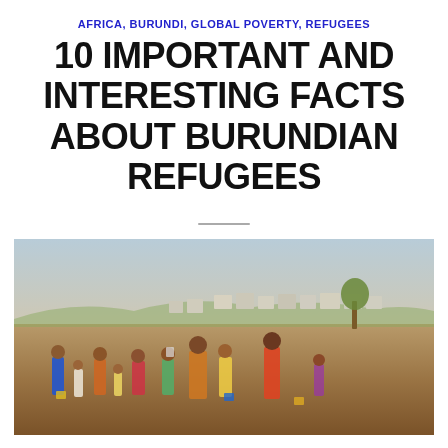AFRICA, BURUNDI, GLOBAL POVERTY, REFUGEES
10 IMPORTANT AND INTERESTING FACTS ABOUT BURUNDIAN REFUGEES
[Figure (photo): Photograph of Burundian refugees in a camp, with people standing on dry ground and makeshift shelters visible in the background under a hazy sky.]